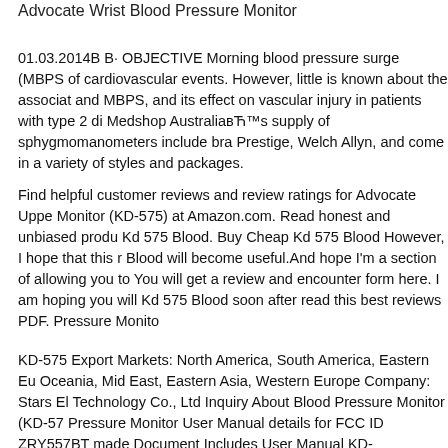Advocate Wrist Blood Pressure Monitor
01.03.2014В В· OBJECTIVE Morning blood pressure surge (MBPS of cardiovascular events. However, little is known about the associat and MBPS, and its effect on vascular injury in patients with type 2 di Medshop AustraliaвЋ™s supply of sphygmomanometers include bra Prestige, Welch Allyn, and come in a variety of styles and packages.
Find helpful customer reviews and review ratings for Advocate Uppe Monitor (KD-575) at Amazon.com. Read honest and unbiased produ Kd 575 Blood. Buy Cheap Kd 575 Blood However, I hope that this r Blood will become useful.And hope I'm a section of allowing you to You will get a review and encounter form here. I am hoping you will Kd 575 Blood soon after read this best reviews PDF. Pressure Monito
KD-575 Export Markets: North America, South America, Eastern Eu Oceania, Mid East, Eastern Asia, Western Europe Company: Stars El Technology Co., Ltd Inquiry About Blood Pressure Monitor (KD-57 Pressure Monitor User Manual details for FCC ID ZRY557BT made Document Includes User Manual KD-557BТГЁВЇВгГ'ЛьЕSГgВN